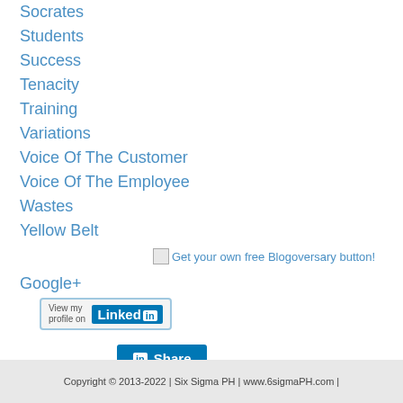Socrates
Students
Success
Tenacity
Training
Variations
Voice Of The Customer
Voice Of The Employee
Wastes
Yellow Belt
[Figure (other): Get your own free Blogoversary button! badge link]
Google+
[Figure (other): LinkedIn View my profile on Linked In button]
[Figure (other): LinkedIn Share button]
[Figure (other): Education - Top Blogs Philippines badge]
[Figure (other): Academics Blogs badge]
Top Blog Directory
[Figure (other): Pinterest button]
Copyright © 2013-2022 | Six Sigma PH | www.6sigmaPH.com |